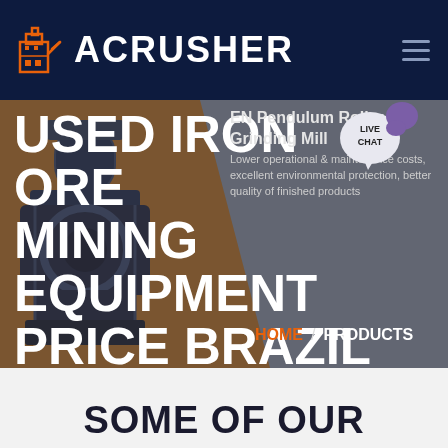ACRUSHER
USED IRON ORE MINING EQUIPMENT PRICE BRAZIL
EN Pendulum Roller Grinding Mill
Lower operational & maintenance costs, excellent environmental protection, better quality of finished products
HOME / PRODUCTS
SOME OF OUR